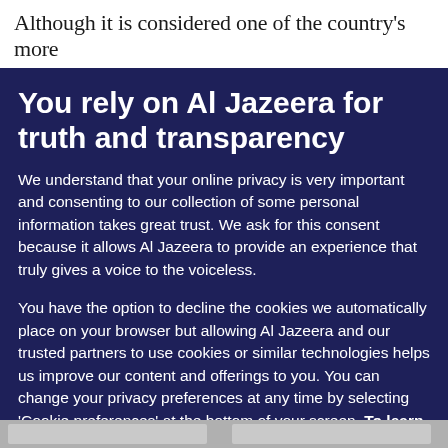Although it is considered one of the country's more
You rely on Al Jazeera for truth and transparency
We understand that your online privacy is very important and consenting to our collection of some personal information takes great trust. We ask for this consent because it allows Al Jazeera to provide an experience that truly gives a voice to the voiceless.
You have the option to decline the cookies we automatically place on your browser but allowing Al Jazeera and our trusted partners to use cookies or similar technologies helps us improve our content and offerings to you. You can change your privacy preferences at any time by selecting 'Cookie preferences' at the bottom of your screen. To learn more, please view our Cookie Policy.